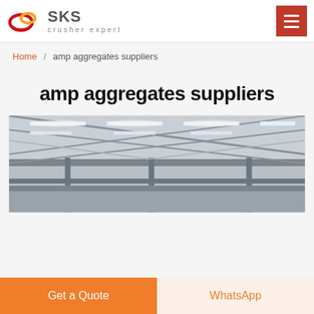[Figure (logo): SKS crusher expert logo with red and orange interlocking rings and SKS brand text]
Home / amp aggregates suppliers
amp aggregates suppliers
[Figure (photo): Interior of an industrial warehouse or factory building with steel structure roof and strip lighting]
Get a Quote
WhatsApp